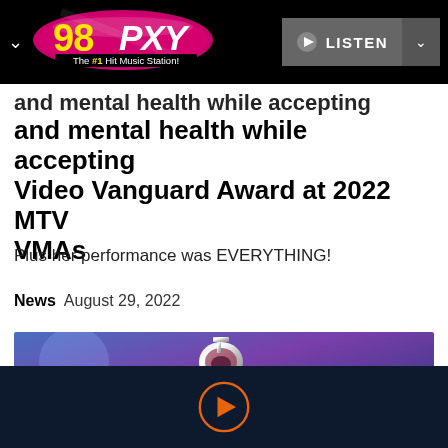98 PXY - The #1 Hit Music Station! | LISTEN
and mental health while accepting Video Vanguard Award at 2022 MTV VMAs
Plus her performance was EVERYTHING!
News  August 29, 2022
[Figure (photo): Photo showing the MTV VMA moonperson trophy on a blue/purple lit stage background]
[Figure (infographic): Play button icon (orange circle with triangle) on dark navy background, media player controls]